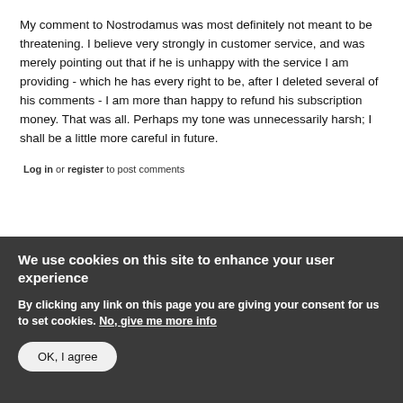My comment to Nostrodamus was most definitely not meant to be threatening. I believe very strongly in customer service, and was merely pointing out that if he is unhappy with the service I am providing - which he has every right to be, after I deleted several of his comments - I am more than happy to refund his subscription money. That was all. Perhaps my tone was unnecessarily harsh; I shall be a little more careful in future.
Log in or register to post comments
BRAVO
We use cookies on this site to enhance your user experience
By clicking any link on this page you are giving your consent for us to set cookies. No, give me more info
OK, I agree